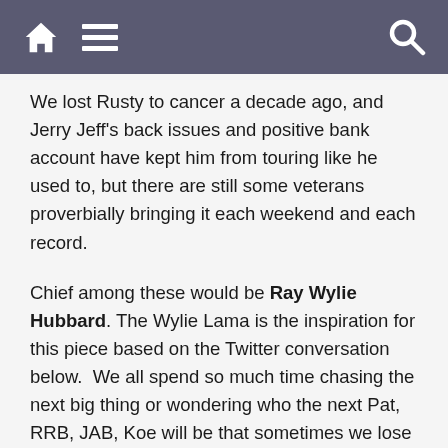[home icon] [menu icon] [search icon]
We lost Rusty to cancer a decade ago, and Jerry Jeff's back issues and positive bank account have kept him from touring like he used to, but there are still some veterans proverbially bringing it each weekend and each record.
Chief among these would be Ray Wylie Hubbard. The Wylie Lama is the inspiration for this piece based on the Twitter conversation below.  We all spend so much time chasing the next big thing or wondering who the next Pat, RRB, JAB, Koe will be that sometimes we lose sight of those already in our midst. RWH provides a low-down groove, gritty lyrics and a stoic mysticism that finds him making his best music later in life. Championed by Beatles and Joe Walsh as fervently as goat ropers and honky-tonkers, Mr. Hubbard's legacy is...